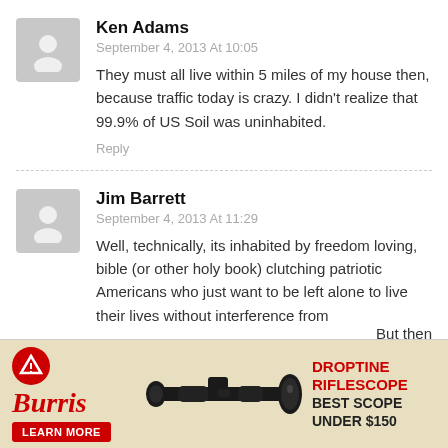Ken Adams
September 4, 2013 At 10:05
They must all live within 5 miles of my house then, because traffic today is crazy. I didn't realize that 99.9% of US Soil was uninhabited.
Reply
Jim Barrett
September 4, 2013 At 11:29
Well, technically, its inhabited by freedom loving, bible (or other holy book) clutching patriotic Americans who just want to be left alone to live their lives without interference from [But then] [ht just as
[Figure (photo): Advertisement for Burris Droptine Riflescope showing a rifle scope image, Burris logo, and text 'DROPTINE RIFLESCOPE BEST SCOPE UNDER $150' with a LEARN MORE button]